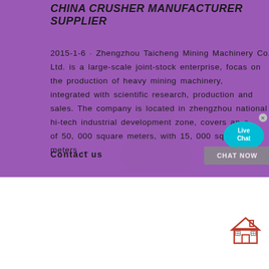CHINA CRUSHER MANUFACTURER SUPPLIER
2015-1-6 · Zhengzhou Taicheng Mining Machinery Co., Ltd. is a large-scale joint-stock enterprise, focas on the production of heavy mining machinery, integrated with scientific research, production and sales. The company is located in zhengzhou national hi-tech industrial development zone, covers an area of 50, 000 square meters, with 15, 000 square meters ...
Contact us
[Figure (illustration): Live Chat bubble icon with speech balloon in blue/cyan color with close button]
[Figure (illustration): House/home icon in red and gray outline style]